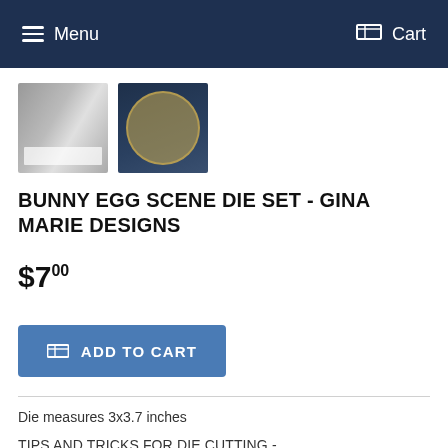Menu   Cart
[Figure (photo): Two product thumbnail images: left shows a holographic/rainbow foil product label on glitter background, right shows a gold framed circular design on dark blue background]
BUNNY EGG SCENE DIE SET - GINA MARIE DESIGNS
$7.00
ADD TO CART
Die measures 3x3.7 inches
TIPS AND TRICKS FOR DIE CUTTING -